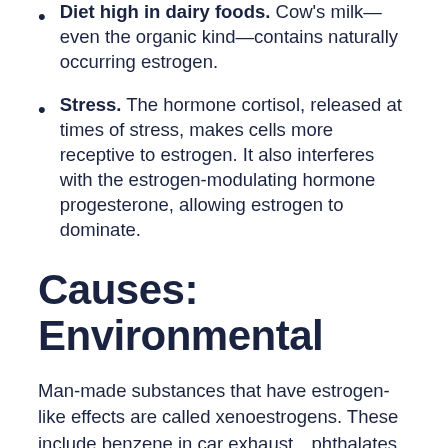Diet high in dairy foods. Cow's milk—even the organic kind—contains naturally occurring estrogen.
Stress. The hormone cortisol, released at times of stress, makes cells more receptive to estrogen. It also interferes with the estrogen-modulating hormone progesterone, allowing estrogen to dominate.
Causes: Environmental
Man-made substances that have estrogen-like effects are called xenoestrogens. These include benzene in car exhaust…phthalates in some plastics…polychlorinated biphenyls (PCBs) in electrical equipment and by-products of their…